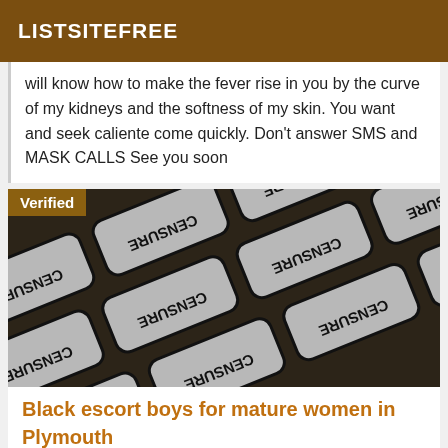LISTSITEFREE
will know how to make the fever rise in you by the curve of my kidneys and the softness of my skin. You want and seek caliente come quickly. Don't answer SMS and MASK CALLS See you soon
[Figure (photo): Censored image with multiple overlapping tiles showing 'CENSURE' text rotated, with 'Verified' badge overlay in brown]
Black escort boys for mature women in Plymouth